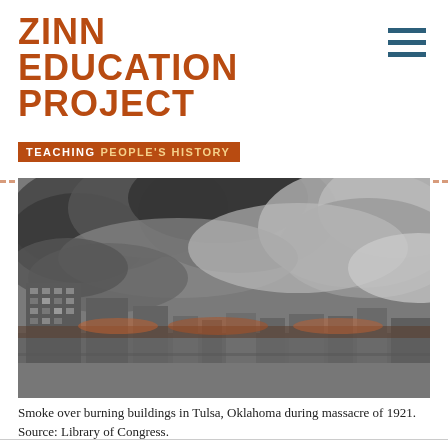ZINN EDUCATION PROJECT
TEACHING PEOPLE'S HISTORY
[Figure (photo): Black and white aerial photograph showing smoke rising over burning buildings in Tulsa, Oklahoma during the 1921 massacre. Dense dark smoke clouds fill the upper portion of the image, with city buildings visible below.]
Smoke over burning buildings in Tulsa, Oklahoma during massacre of 1921. Source: Library of Congress.